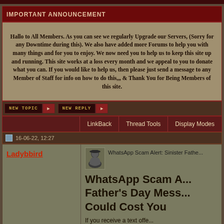IMPORTANT ANNOUNCEMENT
Hallo to All Members. As you can see we regularly Upgrade our Servers, (Sorry for any Downtime during this). We also have added more Forums to help you with many things and for you to enjoy. We now need you to help us to keep this site up and running. This site works at a loss every month and we appeal to you to donate what you can. If you would like to help us, then please just send a message to any Member of Staff for info on how to do this,,, & Thank You for Being Members of this site.
NEW TOPIC  NEW REPLY
LinkBack  Thread Tools  Display Modes
16-06-22, 12:27
Ladybbird
WhatsApp Scam Alert: Sinister Fathe...
WhatsApp Scam A... Father's Day Mess... Could Cost You
If you receive a text offe... chance to win a free cra...